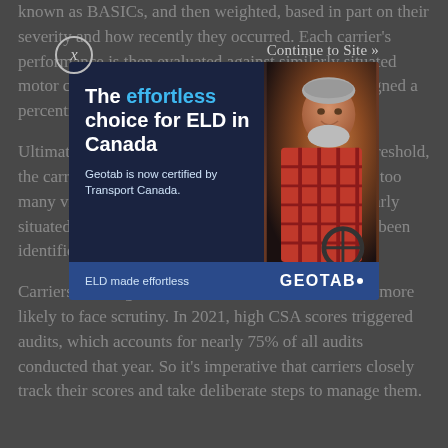known as BASICs, and then weighted, based in part on their severity and how recently they occurred. Each carrier's performance is then evaluated against similarly situated motor carriers in each BASIC, and the carrier is assigned a percentile score in each BASIC.
Ultimately, if a carrier reaches a certain percentile threshold, the carrier receives an "intervention," meaning it has too many violations in a given month compared to similarly situated carriers — or a potential safety problem has been identified.
Carriers with high CSA scores, or "scores" are much more likely to face scrutiny. In 2021, high CSA scores triggered audits, which accounts for nearly 75% of all audits conducted that year. So it's imperative that carriers closely track their scores and take deliberate steps to manage them.
[Figure (screenshot): Advertisement overlay for Geotab ELD product. Shows close button (X in circle) and 'Continue to Site »' link at top. Ad reads: 'The effortless choice for ELD in Canada' with subtext 'Geotab is now certified by Transport Canada.' Photo of smiling man in plaid shirt. Footer reads 'ELD made effortless' on left and 'GEOTAB.' logo on right, on blue background.]